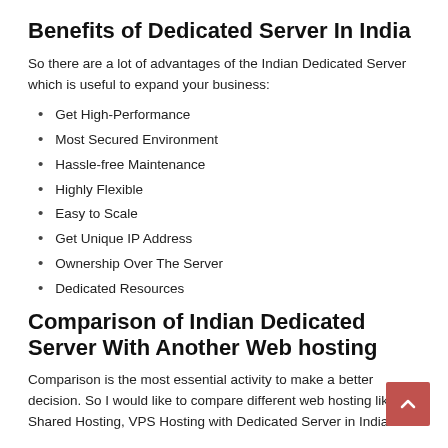Benefits of Dedicated Server In India
So there are a lot of advantages of the Indian Dedicated Server which is useful to expand your business:
Get High-Performance
Most Secured Environment
Hassle-free Maintenance
Highly Flexible
Easy to Scale
Get Unique IP Address
Ownership Over The Server
Dedicated Resources
Comparison of Indian Dedicated Server With Another Web hosting
Comparison is the most essential activity to make a better decision. So I would like to compare different web hosting like Shared Hosting, VPS Hosting with Dedicated Server in India.